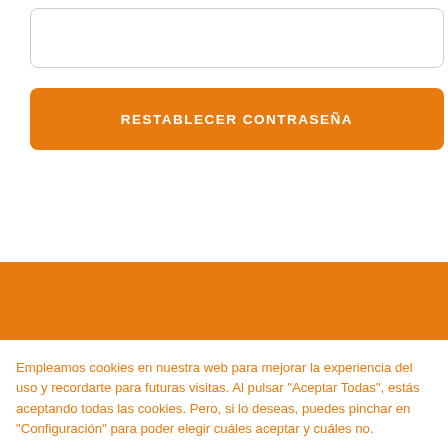[Figure (screenshot): Empty text input field with rounded border]
[Figure (screenshot): Orange button labeled RESTABLECER CONTRASEÑA]
[Figure (screenshot): Orange footer/navigation bar with partially visible white text QUIÉNES SOMOS]
Empleamos cookies en nuestra web para mejorar la experiencia del uso y recordarte para futuras visitas. Al pulsar "Aceptar Todas", estás aceptando todas las cookies. Pero, si lo deseas, puedes pinchar en "Configuración" para poder elegir cuáles aceptar y cuáles no.
Cookie Settings
Aceptar Todas